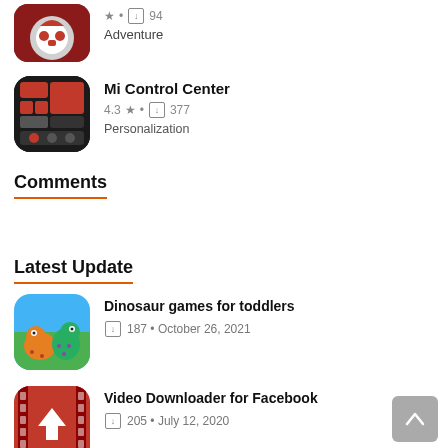[Figure (illustration): Partial app icon for an adventure game (red/white masked character), cropped at top]
★ • ⬇ 94
Adventure
[Figure (illustration): App icon for Mi Control Center showing red control panel widgets]
Mi Control Center
4.3 ★ • ⬇ 377
Personalization
Comments
Latest Update
[Figure (illustration): App icon for Dinosaur games for toddlers showing cartoon dinosaurs on blue/green background]
Dinosaur games for toddlers
⬇ 187 • October 26, 2021
[Figure (illustration): App icon for Video Downloader for Facebook showing white down arrow on red background with film strip border]
Video Downloader for Facebook
⬇ 205 • July 12, 2020